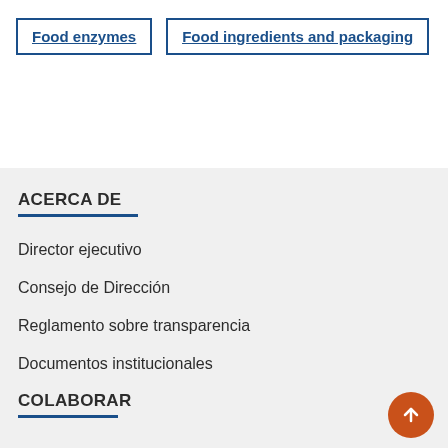Food enzymes
Food ingredients and packaging
ACERCA DE
Director ejecutivo
Consejo de Dirección
Reglamento sobre transparencia
Documentos institucionales
COLABORAR